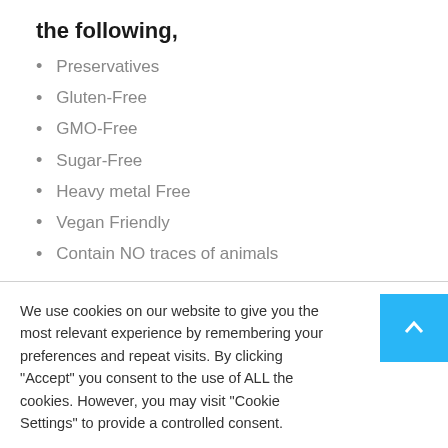the following,
Preservatives
Gluten-Free
GMO-Free
Sugar-Free
Heavy metal Free
Vegan Friendly
Contain NO traces of animals
We use cookies on our website to give you the most relevant experience by remembering your preferences and repeat visits. By clicking "Accept" you consent to the use of ALL the cookies. However, you may visit "Cookie Settings" to provide a controlled consent.
Cookie Settings | Accept All